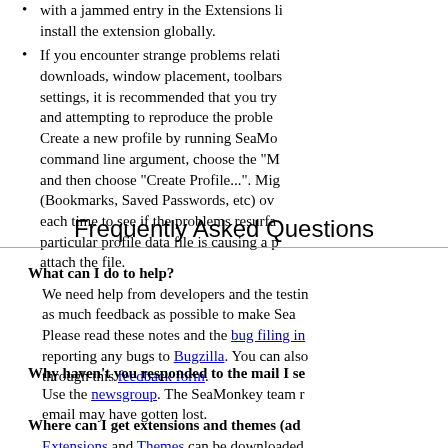with a jammed entry in the Extensions list, install the extension globally. If you encounter strange problems relating to downloads, window placement, toolbars settings, it is recommended that you try and attempting to reproduce the problem. Create a new profile by running SeaMonkey command line argument, choose the "M" and then choose "Create Profile...". Migrate (Bookmarks, Saved Passwords, etc) over each time to see if the problems resurface. particular profile data file is causing a problem, attach the file.
Frequently Asked Questions
What can I do to help?
We need help from developers and the testing as much feedback as possible to make SeaMonkey. Please read these notes and the bug filing instructions before reporting any bugs to Bugzilla. You can also through this feedback form.
Why haven't you responded to the mail I sent?
Use the newsgroup. The SeaMonkey team reads email may have gotten lost.
Where can I get extensions and themes (add-ons)?
Extensions and Themes can be downloaded...